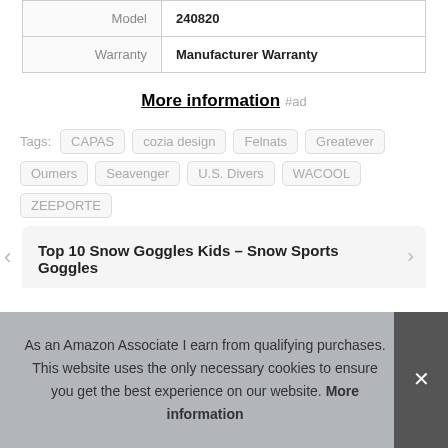| Model | 240820 |
| Warranty | Manufacturer Warranty |
More information #ad
Tags: CAPAS  cozia design  Felnats  Greatever  Oumers  Seavenger  U.S. Divers  WACOOL  ZEEPORTE
Top 10 Snow Goggles Kids – Snow Sports Goggles
As an Amazon Associate I earn from qualifying purchases. This website uses the only necessary cookies to ensure you get the best experience on our website. More information